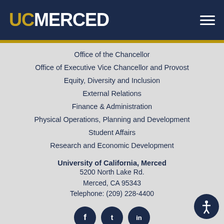UC MERCED
Office of the Chancellor
Office of Executive Vice Chancellor and Provost
Equity, Diversity and Inclusion
External Relations
Finance & Administration
Physical Operations, Planning and Development
Student Affairs
Research and Economic Development
University of California, Merced
5200 North Lake Rd.
Merced, CA 95343
Telephone: (209) 228-4400
[Figure (illustration): Social media icons for Facebook, Twitter, LinkedIn and an accessibility button]